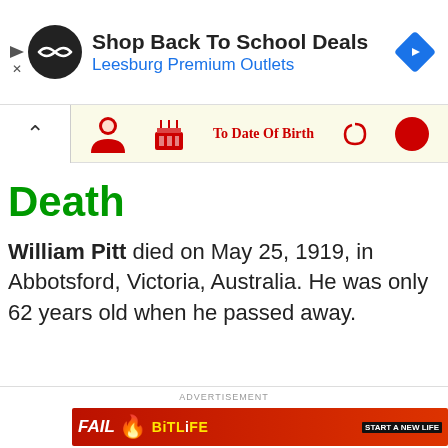[Figure (screenshot): Top advertisement banner: black circular logo with double arrow, 'Shop Back To School Deals' in bold black text, 'Leesburg Premium Outlets' in blue text, blue diamond navigation icon on the right. Small play/close icons on the left edge.]
[Figure (screenshot): Navigation strip with up-chevron button, red person icon, red cake icon, red 'To Date Of Birth' label, decorative icon, and red circle icon on cream background.]
Death
William Pitt died on May 25, 1919, in Abbotsford, Victoria, Australia. He was only 62 years old when he passed away.
ADVERTISEMENT
[Figure (screenshot): Bottom advertisement banner: BitLife 'Start A New Life' game ad with red fire background, 'FAIL' text, cartoon character, and BitLife logo in yellow.]